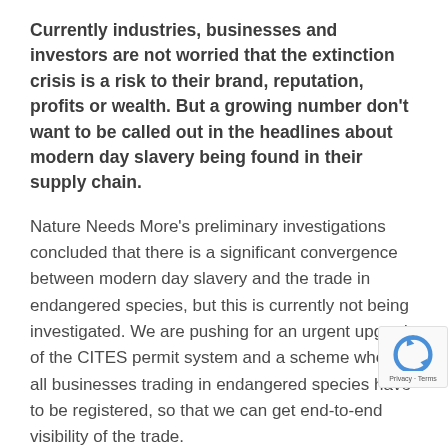Currently industries, businesses and investors are not worried that the extinction crisis is a risk to their brand, reputation, profits or wealth. But a growing number don't want to be called out in the headlines about modern day slavery being found in their supply chain.
Nature Needs More's preliminary investigations concluded that there is a significant convergence between modern day slavery and the trade in endangered species, but this is currently not being investigated. We are pushing for an urgent upgrade of the CITES permit system and a scheme where all businesses trading in endangered species have to be registered, so that we can get end-to-end visibility of the trade.
If this happens, it should support modern day